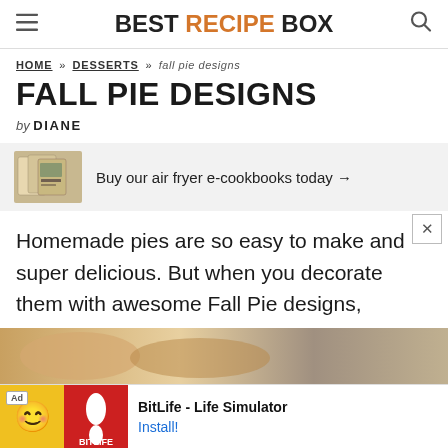BEST RECIPE BOX
HOME » DESSERTS » fall pie designs
FALL PIE DESIGNS
by DIANE
[Figure (infographic): Cookbook advertisement banner: image of air fryer e-cookbooks with text 'Buy our air fryer e-cookbooks today →']
Homemade pies are so easy to make and super delicious. But when you decorate them with awesome Fall Pie designs, everyone will go nuts over these works of art!
[Figure (photo): Partial photo of fall pies at bottom of page, with BitLife - Life Simulator advertisement overlay at the very bottom.]